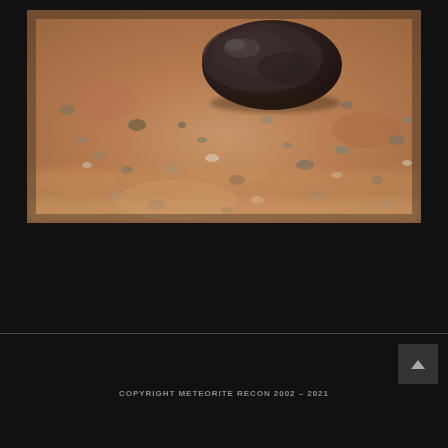[Figure (photo): Close-up photograph of a dark meteorite stone sitting on sandy, pebbly desert ground. The meteorite is dark brown-black in color with a rough surface, resting on reddish-tan sandy soil scattered with small pebbles of various sizes. The background is blurred showing more sandy desert terrain.]
COPYRIGHT METEORITE RECON 2002 – 2021